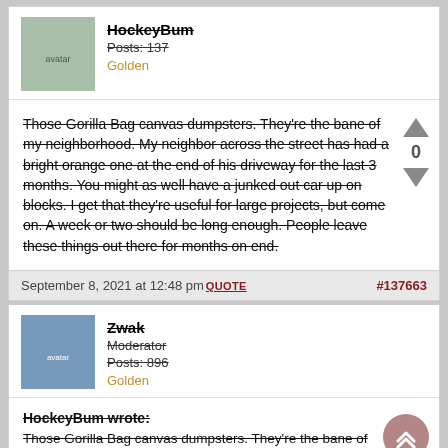HockeyBum
Posts: 137
Golden
Those Gorilla Bag canvas dumpsters. They're the bane of my neighborhood. My neighbor across the street has had a bright orange one at the end of his driveway for the last 3 months. You might as well have a junked out car up on blocks. I get that they're useful for large projects, but come on. A week or two should be long enough. People leave these things out there for months on end.
September 8, 2021 at 12:48 pm QUOTE #137663
Zwak
Moderator
Posts: 896
Golden
HockeyBum wrote:
Those Gorilla Bag canvas dumpsters. They're the bane of my neighborhood. My neighbor across the street has...